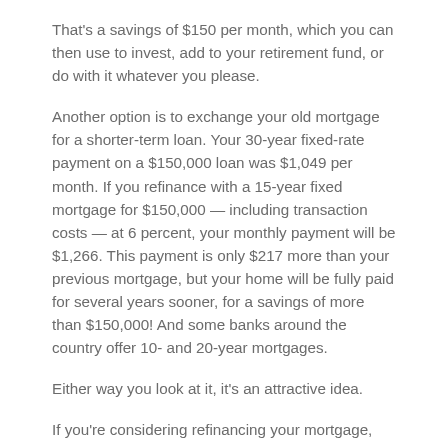That's a savings of $150 per month, which you can then use to invest, add to your retirement fund, or do with it whatever you please.
Another option is to exchange your old mortgage for a shorter-term loan. Your 30-year fixed-rate payment on a $150,000 loan was $1,049 per month. If you refinance with a 15-year fixed mortgage for $150,000 — including transaction costs — at 6 percent, your monthly payment will be $1,266. This payment is only $217 more than your previous mortgage, but your home will be fully paid for several years sooner, for a savings of more than $150,000! And some banks around the country offer 10- and 20-year mortgages.
Either way you look at it, it's an attractive idea.
If you're considering refinancing your mortgage, consult your financial professional and determine whether refinancing your home would be a good